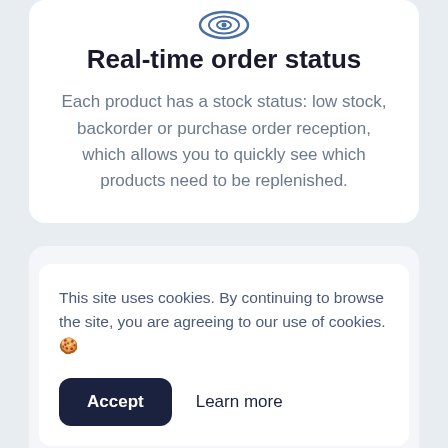[Figure (illustration): Blue circular icon at top of card]
Real-time order status
Each product has a stock status: low stock, backorder or purchase order reception, which allows you to quickly see which products need to be replenished.
This site uses cookies. By continuing to browse the site, you are agreeing to our use of cookies. 🍪
contains back orders products below the ideal